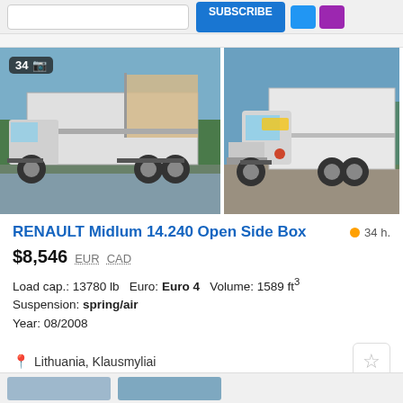[Figure (photo): Two photos of a Renault Midlum 14.240 Open Side Box truck. Left photo shows rear/side view with open sliding side panel. Right photo shows front/side view. Photo count badge shows 34 images.]
RENAULT Midlum 14.240 Open Side Box
$8,546 EUR CAD
Load cap.: 13780 lb  Euro: Euro 4  Volume: 1589 ft³
Suspension: spring/air
Year: 08/2008
Lithuania, Klausmyliai